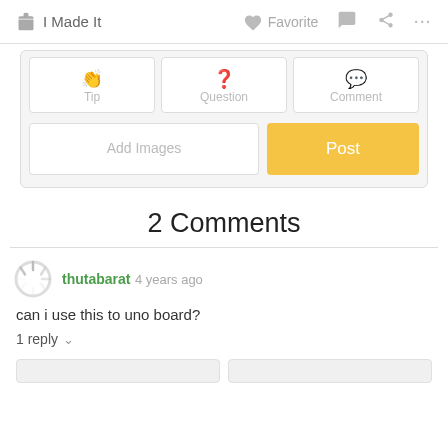I Made It  Favorite  ...
[Figure (screenshot): UI card with Tip, Question, Comment tabs, Add Images button and Post button]
2 Comments
thutabarat 4 years ago
can i use this to uno board?
1 reply